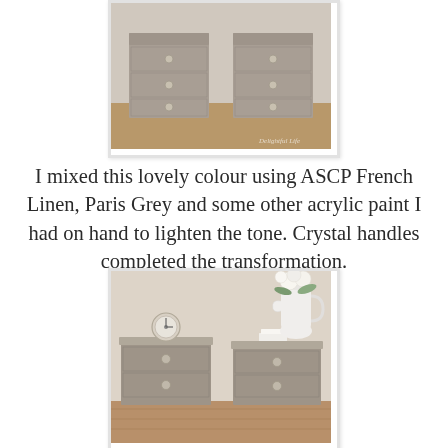[Figure (photo): Two grey painted bedside tables/nightstands with crystal knob handles, photographed from above/front, showing two drawers each. Watermark text 'Delightful Life' in bottom right corner.]
I mixed this lovely colour using ASCP French Linen, Paris Grey and some other acrylic paint I had on hand to lighten the tone. Crystal handles completed the transformation.
[Figure (photo): Two grey painted bedside tables/nightstands styled with home decor: a round clock on the left table and a white pitcher with white/cream flowers plus small white books on the right table. Wood floor visible. Warm neutral wall.]